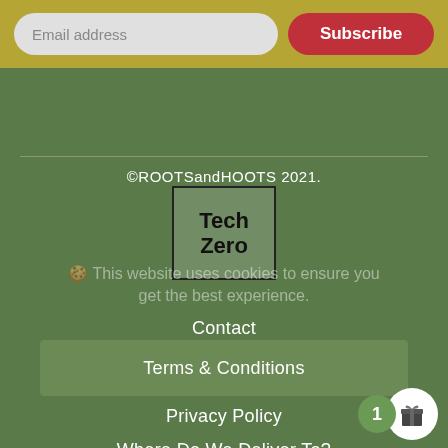Email address
Subscribe
©ROOTSandHOOTS 2021.
[Figure (logo): Tech Zero logo — bold text 'Tech Zero' inside a rectangular black border box]
🍪 This website uses cookies to ensure you get the best experience.
Contact
Terms & Conditions
Privacy Policy
Where Do We Deliver To?
FAQ's
Blog